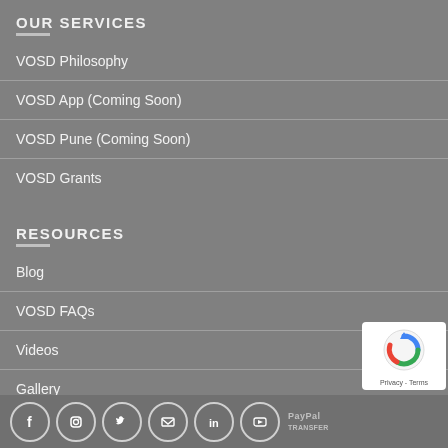OUR SERVICES
VOSD Philosophy
VOSD App (Coming Soon)
VOSD Pune (Coming Soon)
VOSD Grants
RESOURCES
Blog
VOSD FAQs
Videos
Gallery
Rescue Stories
VOSD in News
[Figure (other): Footer with social media icons (Facebook, Instagram, Twitter, Email, LinkedIn, YouTube), PayPal logo, bank transfer text, and reCAPTCHA privacy badge]